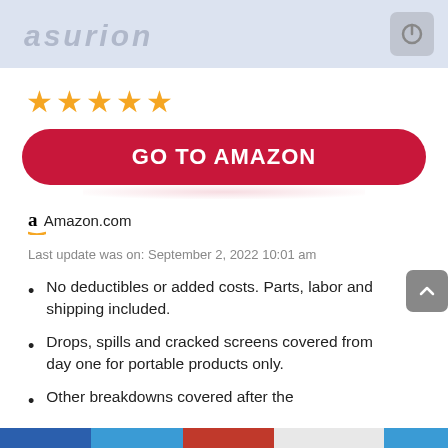[Figure (logo): Asurion logo on light blue banner with power icon button on the right]
[Figure (other): 5 orange star rating icons]
GO TO AMAZON
Amazon.com
Last update was on: September 2, 2022 10:01 am
No deductibles or added costs. Parts, labor and shipping included.
Drops, spills and cracked screens covered from day one for portable products only.
Other breakdowns covered after the